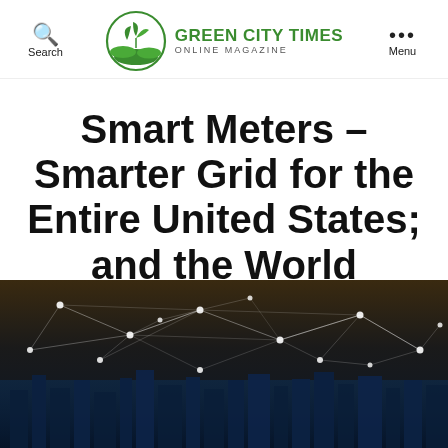Search | GREEN CITY TIMES ONLINE MAGAZINE | Menu
Smart Meters – Smarter Grid for the Entire United States; and the World
[Figure (photo): Network connectivity visualization overlaid on a city skyline at night, showing glowing white nodes and connecting lines over dark background with blue-tinted urban landscape]